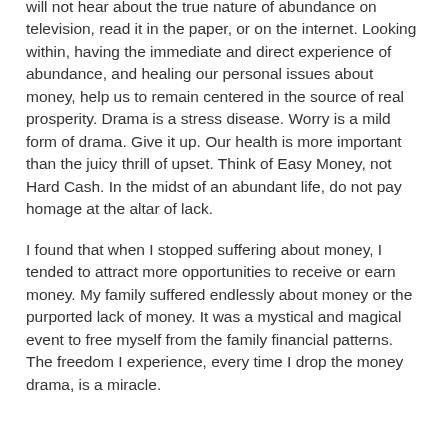will not hear about the true nature of abundance on television, read it in the paper, or on the internet. Looking within, having the immediate and direct experience of abundance, and healing our personal issues about money, help us to remain centered in the source of real prosperity. Drama is a stress disease. Worry is a mild form of drama. Give it up. Our health is more important than the juicy thrill of upset. Think of Easy Money, not Hard Cash. In the midst of an abundant life, do not pay homage at the altar of lack.
I found that when I stopped suffering about money, I tended to attract more opportunities to receive or earn money. My family suffered endlessly about money or the purported lack of money. It was a mystical and magical event to free myself from the family financial patterns. The freedom I experience, every time I drop the money drama, is a miracle.